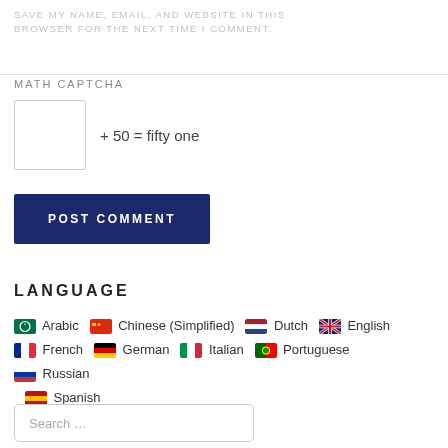SAVE MY NAME, EMAIL, AND WEBSITE IN THIS BROWSER FOR THE NEXT TIME I COMMENT.
MATH CAPTCHA
+ 50 = fifty one
POST COMMENT
LANGUAGE
Arabic  Chinese (Simplified)  Dutch  English  French  German  Italian  Portuguese  Russian  Spanish
Search …